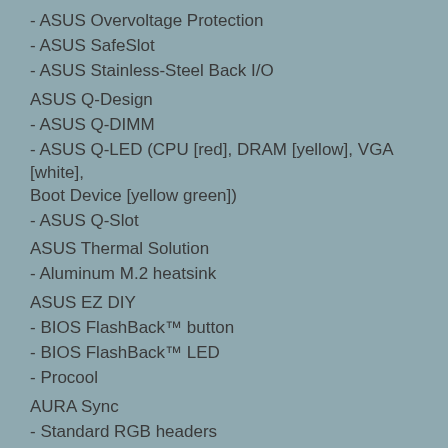- ASUS Overvoltage Protection
- ASUS SafeSlot
- ASUS Stainless-Steel Back I/O
ASUS Q-Design
- ASUS Q-DIMM
- ASUS Q-LED (CPU [red], DRAM [yellow], VGA [white], Boot Device [yellow green])
- ASUS Q-Slot
ASUS Thermal Solution
- Aluminum M.2 heatsink
ASUS EZ DIY
- BIOS FlashBack™ button
- BIOS FlashBack™ LED
- Procool
AURA Sync
- Standard RGB headers
- Addressable Gen 2 RGB header